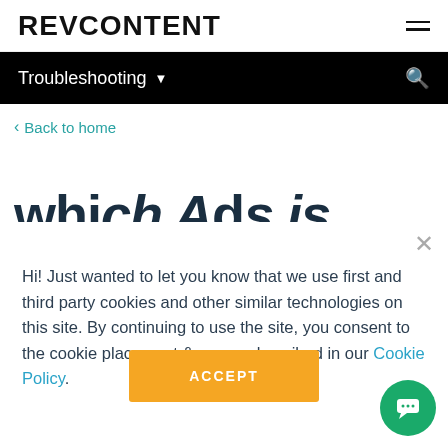REVCONTENT
Troubleshooting
Back to home
Hi! Just wanted to let you know that we use first and third party cookies and other similar technologies on this site. By continuing to use the site, you consent to the cookie placement & use as described in our Cookie Policy.
ACCEPT